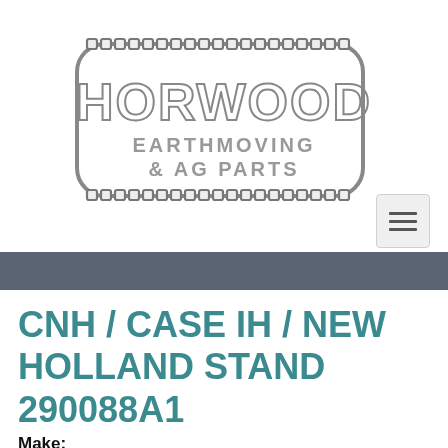[Figure (logo): Horwood Earthmoving & AG Parts logo with chain-border rounded rectangle outline and stylized gray lettering]
CNH / CASE IH / NEW HOLLAND STAND 290088A1
Make: